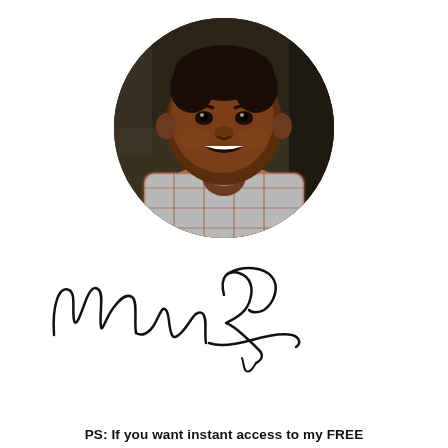[Figure (photo): Circular cropped headshot photo of a smiling Black man wearing a plaid shirt, photographed indoors with a dark background.]
[Figure (illustration): Handwritten signature in black ink, cursive style, appearing to read 'Marc R' or similar.]
PS: If you want instant access to my FREE